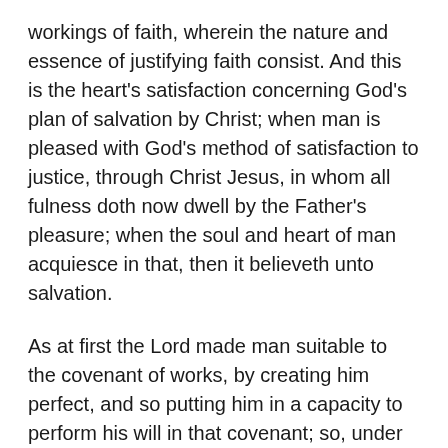workings of faith, wherein the nature and essence of justifying faith consist. And this is the heart's satisfaction concerning God's plan of salvation by Christ; when man is pleased with God's method of satisfaction to justice, through Christ Jesus, in whom all fulness doth now dwell by the Father's pleasure; when the soul and heart of man acquiesce in that, then it believeth unto salvation.
As at first the Lord made man suitable to the covenant of works, by creating him perfect, and so putting him in a capacity to perform his will in that covenant; so, under the new covenant, when God giveth the new heart to man, he putteth the idea and stamp of all his device in the new covenant upon the man, so as there is a consonance to God's will there: thus he beareth the image of the second Adam, Christ Jesus, on him. This is a great part of the new heart, and is most opposed to works; since now the man abideth by faith for grace, "he receiveth it at the hand"